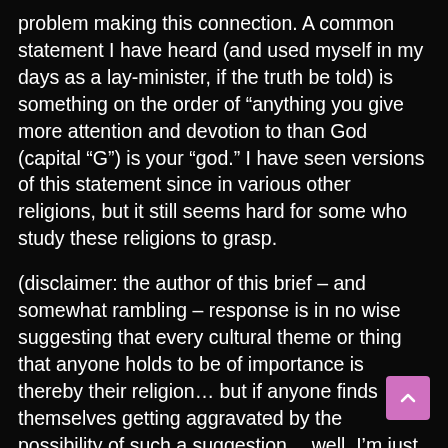problem making this connection. A common statement I have heard (and used myself in my days as a lay-minister, if the truth be told) is something on the order of “anything you give more attention and devotion to than God (capital “G”) is your “god.” I have seen versions of this statement since in various other religions, but it still seems hard for some who study these religions to grasp.
(disclaimer: the author of this brief – and somewhat rambling – response is in no wise suggesting that every cultural theme or thing that anyone holds to be of importance is thereby their religion… but if anyone finds themselves getting aggravated by the possibility of such a suggestion… well, I’m just